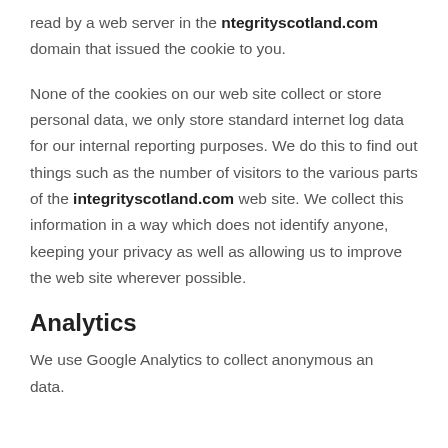read by a web server in the ntegrityscotland.com domain that issued the cookie to you.
None of the cookies on our web site collect or store personal data, we only store standard internet log data for our internal reporting purposes. We do this to find out things such as the number of visitors to the various parts of the integrityscotland.com web site. We collect this information in a way which does not identify anyone, keeping your privacy as well as allowing us to improve the web site wherever possible.
Analytics
We use Google Analytics to collect anonymous and data.